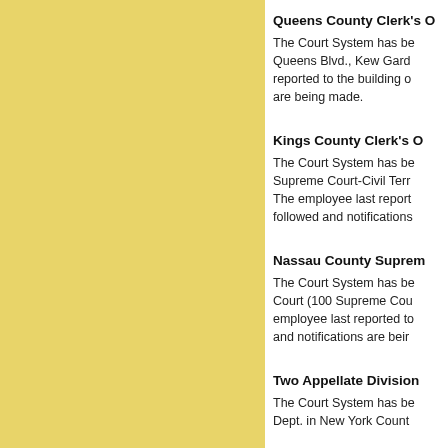Queens County Clerk's
The Court System has b... Queens Blvd., Kew Gard... reported to the building c... are being made.
Kings County Clerk's O
The Court System has b... Supreme Court-Civil Ter... The employee last repor... followed and notifications
Nassau County Suprem
The Court System has b... Court (100 Supreme Cou... employee last reported t... and notifications are beir
Two Appellate Division
The Court System has b... Dept. in New York Count